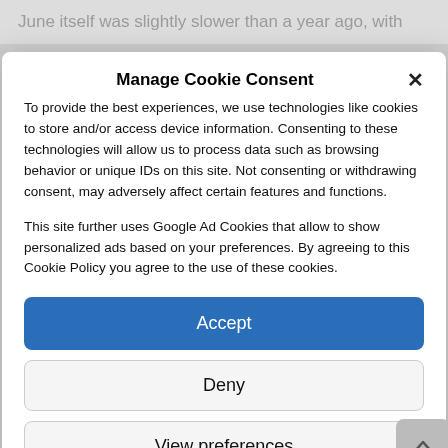June itself was slightly slower than a year ago, with
Manage Cookie Consent
To provide the best experiences, we use technologies like cookies to store and/or access device information. Consenting to these technologies will allow us to process data such as browsing behavior or unique IDs on this site. Not consenting or withdrawing consent, may adversely affect certain features and functions.
This site further uses Google Ad Cookies that allow to show personalized ads based on your preferences. By agreeing to this Cookie Policy you agree to the use of these cookies.
Accept
Deny
View preferences
Cookie policy   Privacy policy